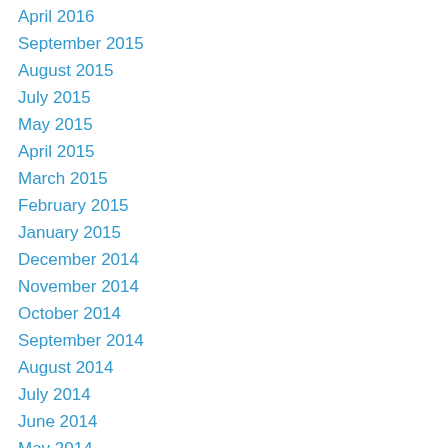April 2016
September 2015
August 2015
July 2015
May 2015
April 2015
March 2015
February 2015
January 2015
December 2014
November 2014
October 2014
September 2014
August 2014
July 2014
June 2014
May 2014
April 2014
March 2014
February 2014